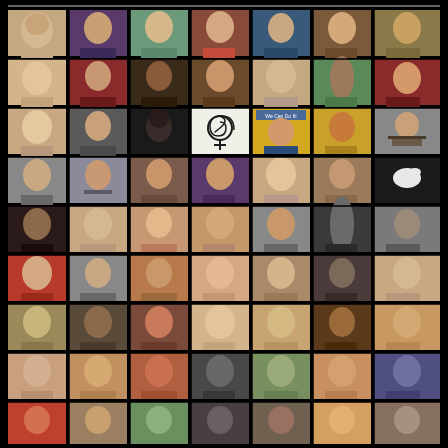[Figure (photo): Grid collage of approximately 63 portrait photos of women (and a few illustrations), arranged in 9 rows of 7 columns each, against a black background. Photos show diverse women of various ages, ethnicities, and styles. Some cells contain illustrations or graphic images including a feminist symbol with spiral, a 'We Can Do It!' Rosie the Riveter-style image, and a white bird silhouette.]